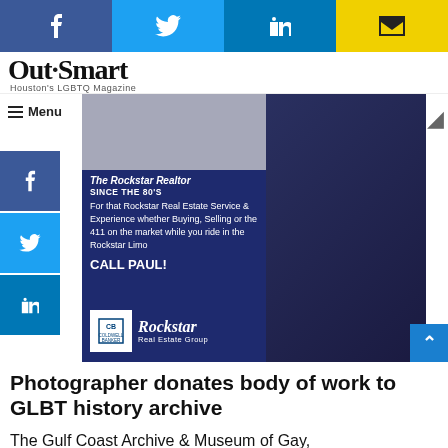[Figure (screenshot): Top social sharing bar with Facebook, Twitter, LinkedIn, and email buttons]
OutSmart – Houston's LGBTQ Magazine
[Figure (infographic): Advertisement for Rockstar Real Estate Group / Paul – The Rockstar Realtor Since the 80s. Text: For that Rockstar Real Estate Service & Experience whether Buying, Selling or the 411 on the market while you ride in the Rockstar Limo CALL PAUL! Rockstar Real Estate Group. Coldwell Banker logo.]
Photographer donates body of work to GLBT history archive
The Gulf Coast Archive & Museum of Gay,